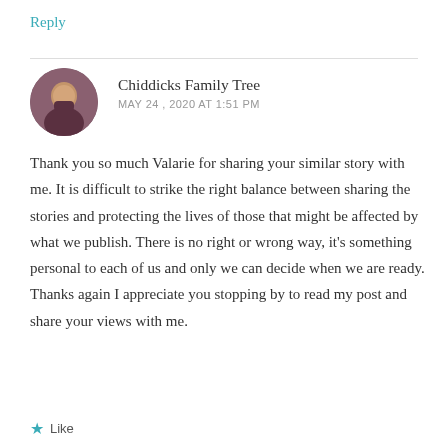Reply
Chiddicks Family Tree
MAY 24, 2020 AT 1:51 PM
Thank you so much Valarie for sharing your similar story with me. It is difficult to strike the right balance between sharing the stories and protecting the lives of those that might be affected by what we publish. There is no right or wrong way, it's something personal to each of us and only we can decide when we are ready. Thanks again I appreciate you stopping by to read my post and share your views with me.
Like